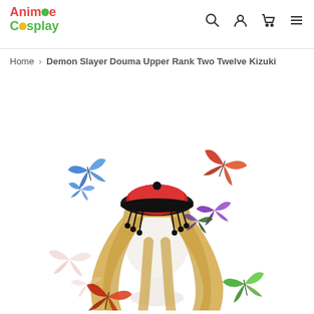Animee Cosplay
Home › Demon Slayer Douma Upper Rank Two Twelve Kizuki
[Figure (photo): Product photo of a cosplay wig with a red and black hat accessory on a mannequin head, surrounded by colorful butterfly decorations on a white background. The wig has long blonde hair.]